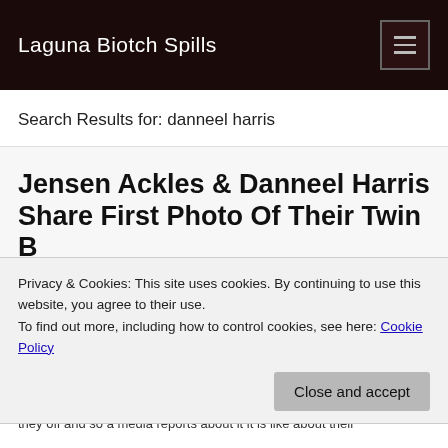Laguna Biotch Spills
Search Results for: danneel harris
Jensen Ackles & Danneel Harris Share First Photo Of Their Twin B...
Privacy & Cookies: This site uses cookies. By continuing to use this website, you agree to their use.
To find out more, including how to control cookies, see here: Cookie Policy
Close and accept
they off and so a media reports about it it is like about their